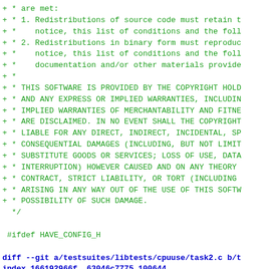Diff/patch output showing BSD license text additions and a new diff block for testsuites/libtests/cpuuse/task2.c with SPDX-License-Identifier header